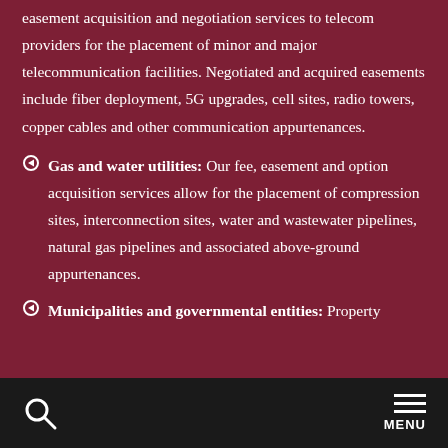easement acquisition and negotiation services to telecom providers for the placement of minor and major telecommunication facilities. Negotiated and acquired easements include fiber deployment, 5G upgrades, cell sites, radio towers, copper cables and other communication appurtenances.
Gas and water utilities: Our fee, easement and option acquisition services allow for the placement of compression sites, interconnection sites, water and wastewater pipelines, natural gas pipelines and associated above-ground appurtenances.
Municipalities and governmental entities: Property
MENU